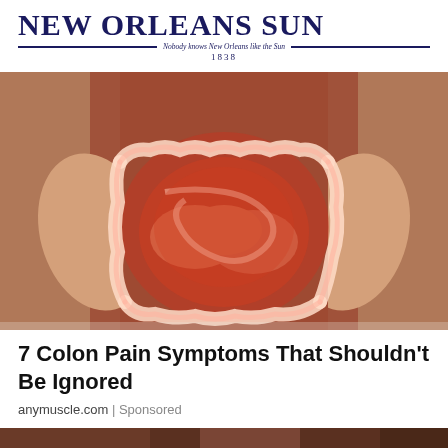NEW ORLEANS SUN — Nobody knows New Orleans like the Sun — 1838
[Figure (photo): Person holding their abdomen/stomach area with both hands, with a medical illustration of the colon/large intestine overlaid in red and white outline on the torso. The person is wearing a brown/rust colored top. The colon illustration shows redness indicating pain or inflammation.]
7 Colon Pain Symptoms That Shouldn't Be Ignored
anymuscle.com | Sponsored